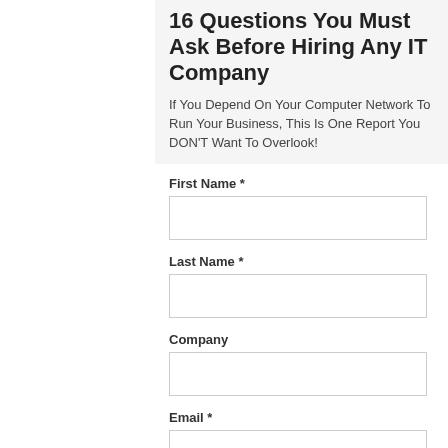16 Questions You Must Ask Before Hiring Any IT Company
If You Depend On Your Computer Network To Run Your Business, This Is One Report You DON'T Want To Overlook!
First Name *
Last Name *
Company
Email *
Main Company Phone